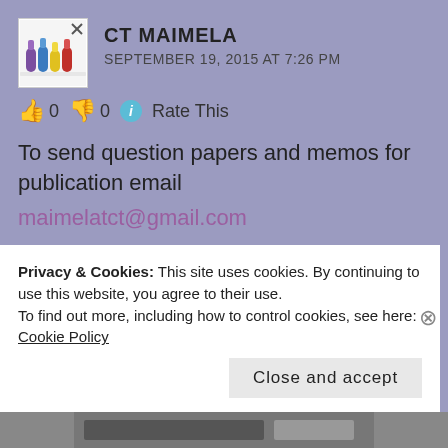[Figure (photo): Avatar image showing colorful chemistry lab flasks/bottles on white background]
CT MAIMELA
SEPTEMBER 19, 2015 AT 7:26 PM
👍 0 👎 0 ℹ Rate This
To send question papers and memos for publication email maimelatct@gmail.com
★ Like
REPLY
Privacy & Cookies: This site uses cookies. By continuing to use this website, you agree to their use.
To find out more, including how to control cookies, see here: Cookie Policy
Close and accept